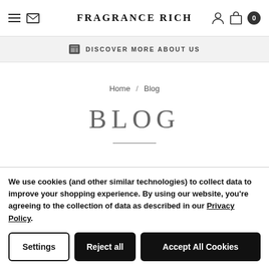FRAGRANCE RICH
DISCOVER MORE ABOUT US
Home / Blog
BLOG
We use cookies (and other similar technologies) to collect data to improve your shopping experience. By using our website, you're agreeing to the collection of data as described in our Privacy Policy.
Settings | Reject all | Accept All Cookies